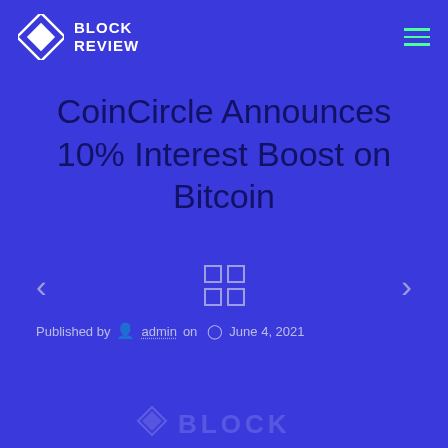BLOCK REVIEW
CoinCircle Announces 10% Interest Boost on Bitcoin
Published by admin on June 4, 2021